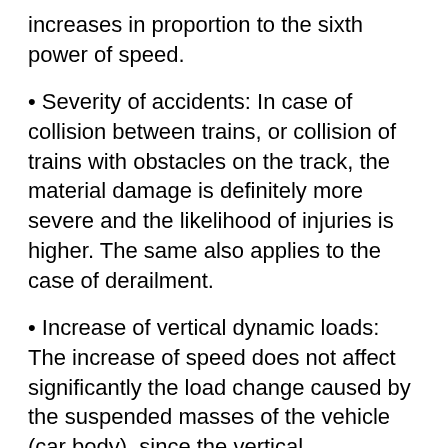increases in proportion to the sixth power of speed.
Severity of accidents: In case of collision between trains, or collision of trains with obstacles on the track, the material damage is definitely more severe and the likelihood of injuries is higher. The same also applies to the case of derailment.
Increase of vertical dynamic loads: The increase of speed does not affect significantly the load change caused by the suspended masses of the vehicle (car body), since the vertical accelerations of the car body increase less quickly than the speed, and they may be restricted by reducing the natural frequency of the car body, or by ensuring a relatively good track quality.